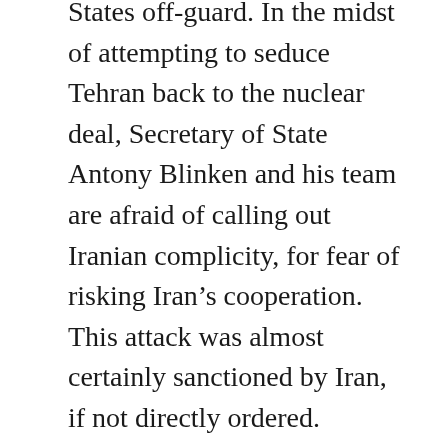States off-guard. In the midst of attempting to seduce Tehran back to the nuclear deal, Secretary of State Antony Blinken and his team are afraid of calling out Iranian complicity, for fear of risking Iran’s cooperation. This attack was almost certainly sanctioned by Iran, if not directly ordered.
This situation is wholly counterintuitive to both American and British national security interests in the region. Kataib Hezbollah, a powerful Iranian proxy, was responsible for a similar indirect fire attack at camp Taji last March, killing two Americans and a British servicewoman. They were also responsible for